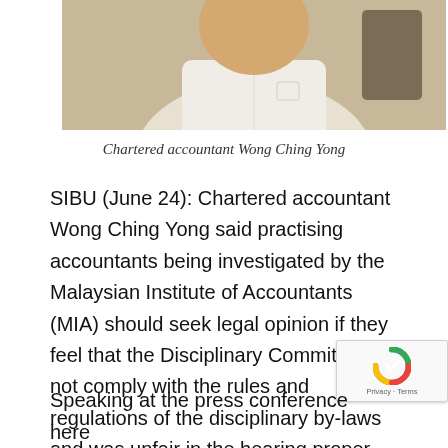[Figure (photo): Photo of chartered accountant Wong Ching Yong, a person in a white shirt seated in a chair, cropped at upper body level]
Chartered accountant Wong Ching Yong
SIBU (June 24): Chartered accountant Wong Ching Yong said practising accountants being investigated by the Malaysian Institute of Accountants (MIA) should seek legal opinion if they feel that the Disciplinary Committee did not comply with the rules and regulations of the disciplinary by-laws and was unfair in the hearing proper.
Speaking at the press conference here